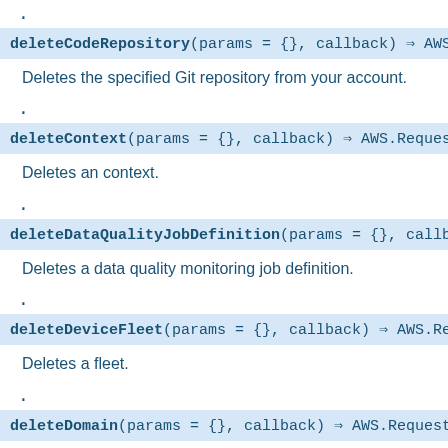.
deleteCodeRepository(params = {}, callback) ⇒ AWS.R
Deletes the specified Git repository from your account.
.
deleteContext(params = {}, callback) ⇒ AWS.Request
Deletes an context.
.
deleteDataQualityJobDefinition(params = {}, callbac
Deletes a data quality monitoring job definition.
.
deleteDeviceFleet(params = {}, callback) ⇒ AWS.Requ
Deletes a fleet.
.
deleteDomain(params = {}, callback) ⇒ AWS.Request